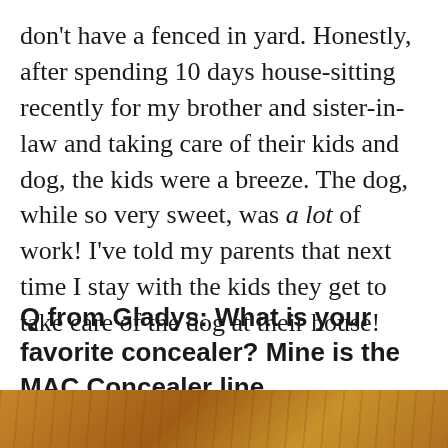don't have a fenced in yard. Honestly, after spending 10 days house-sitting recently for my brother and sister-in-law and taking care of their kids and dog, the kids were a breeze. The dog, while so very sweet, was a lot of work! I've told my parents that next time I stay with the kids they get to take care of the dog at their house!
Q from Gladys: What is your favorite concealer? Mine is the MAC Concealer line.
[Figure (photo): Partial photo of a wooden surface (wood grain texture visible), with a pink back-to-top button overlay in the bottom-right corner.]